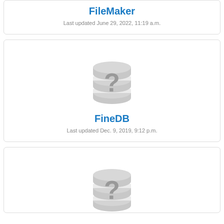FileMaker
Last updated June 29, 2022, 11:19 a.m.
[Figure (illustration): Database icon with question mark - gray cylinder stack with question mark symbol]
FineDB
Last updated Dec. 9, 2019, 9:12 p.m.
[Figure (illustration): Database icon with question mark - gray cylinder stack with question mark symbol (partial, bottom of page)]